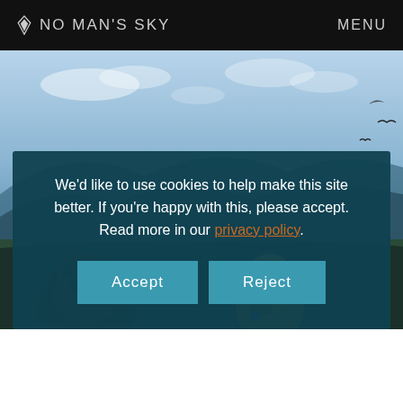NO MAN'S SKY   MENU
[Figure (screenshot): No Man's Sky website background showing alien landscape with sky scene top and alien creatures bottom]
We'd like to use cookies to help make this site better. If you're happy with this, please accept. Read more in our privacy policy.
Accept   Reject